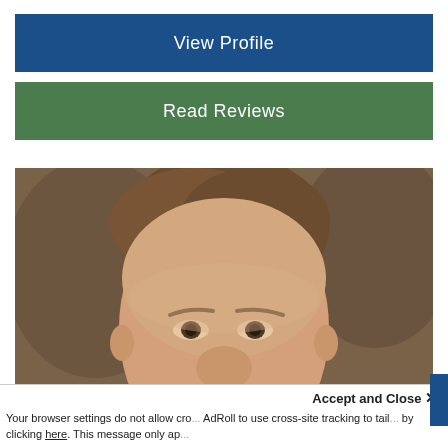[Figure (screenshot): Blue button with text 'View Profile']
[Figure (screenshot): Green button with text 'Read Reviews']
[Figure (photo): Close-up photo of a middle-aged man with short brown hair, looking directly at the camera against a dark brown background. Only the top half of the face (forehead through eyes/nose) is visible.]
Accept and Close ×
Your browser settings do not allow cro... AdRoll to use cross-site tracking to tail... by clicking here. This message only ap...
[Figure (screenshot): Dark blue chat widget bar with 'CHAT NOW' text and a speech bubble icon on the right]